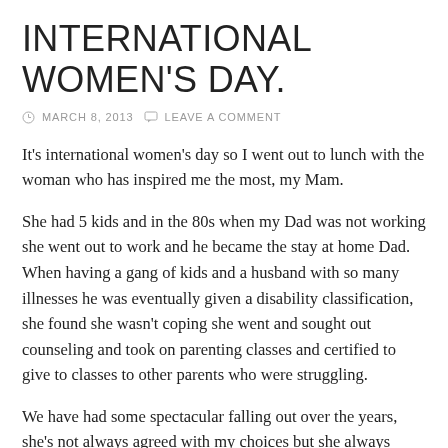INTERNATIONAL WOMEN'S DAY.
MARCH 8, 2013   LEAVE A COMMENT
It's international women's day so I went out to lunch with the woman who has inspired me the most, my Mam.
She had 5 kids and in the 80s when my Dad was not working she went out to work and he became the stay at home Dad. When having a gang of kids and a husband with so many illnesses he was eventually given a disability classification, she found she wasn't coping she went and sought out counseling and took on parenting classes and certified to give to classes to other parents who were struggling.
We have had some spectacular falling out over the years, she's not always agreed with my choices but she always loved me